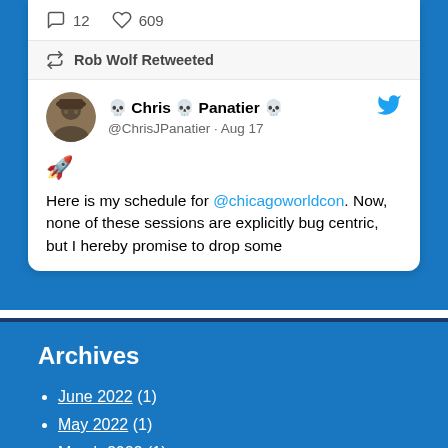[Figure (screenshot): Twitter/social media embed showing a retweet by Rob Wolf of Chris Panatier's tweet about Chicago Worldcon schedule, with engagement metrics (12 comments, 609 likes)]
Archives
June 2022 (1)
May 2022 (1)
March 2022 (1)